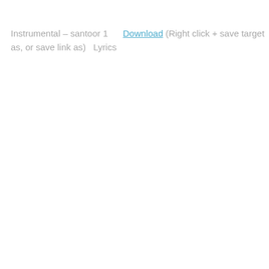Instrumental – santoor 1   Download (Right click + save target as, or save link as)   Lyrics